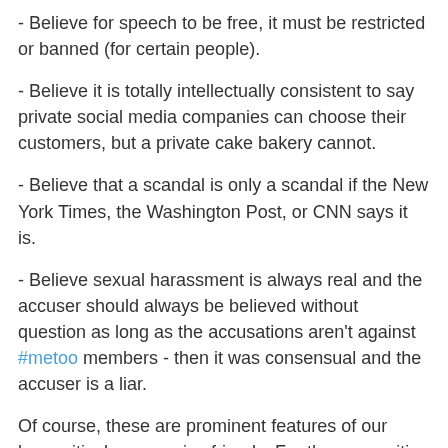- Believe for speech to be free, it must be restricted or banned (for certain people).
- Believe it is totally intellectually consistent to say private social media companies can choose their customers, but a private cake bakery cannot.
- Believe that a scandal is only a scandal if the New York Times, the Washington Post, or CNN says it is.
- Believe sexual harassment is always real and the accuser should always be believed without question as long as the accusations aren't against #metoo members - then it was consensual and the accuser is a liar.
Of course, these are prominent features of our hypocritical progressive friends. For them, cognitive dissonance is a feature, not a bug.
None of this - not a single damn instance - is about the referenced situation - it is all about the political position of the person and how best to protect that political position. It's making up rules and crap "facts" as they go along just to